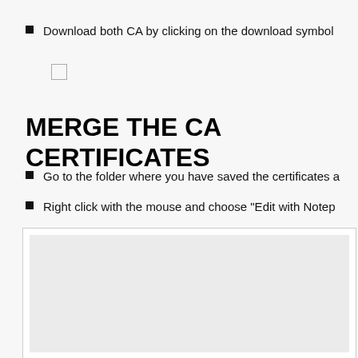Download both CA by clicking on the download symbol
[Figure (screenshot): Checkbox / image placeholder area]
MERGE THE CA CERTIFICATES
Go to the folder where you have saved the certificates a
Right click with the mouse and choose "Edit with Notep
[Figure (screenshot): White content box with light grey inner area]